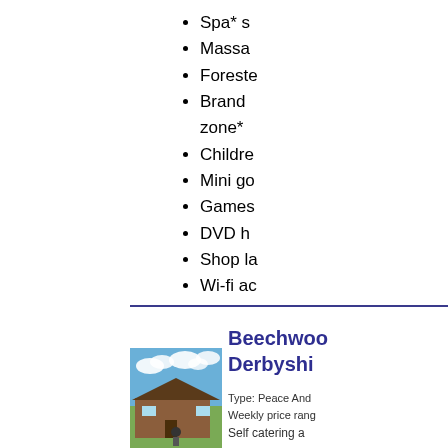Spa* s
Massa
Foreste
Brand zone*
Childre
Mini go
Games
DVD h
Shop la
Wi-fi ac
Beechwoo Derbyshi
Type: Peace And Weekly price rang
Self catering a
[Figure (photo): Exterior photo of a wooden lodge/cabin with blue sky and clouds in the background]